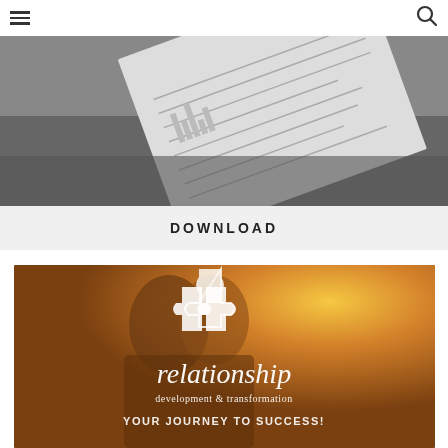☰  🔍
[Figure (photo): Black and white photo of papers/documents on a tablet at an angle]
DOWNLOAD
[Figure (photo): Warm golden-toned photo of two people embracing, with puzzle piece logo and text: relationship development & transformation YOUR JOURNEY TO SUCCESS!]